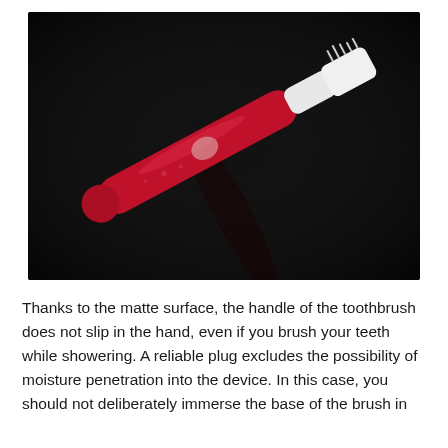[Figure (photo): A red electric toothbrush with a white brush head, lying diagonally on a dark (black) background. The handle has a matte red finish with a small light-colored oval mark/button near the center. The white brush head with bristles is visible at the upper right.]
Thanks to the matte surface, the handle of the toothbrush does not slip in the hand, even if you brush your teeth while showering. A reliable plug excludes the possibility of moisture penetration into the device. In this case, you should not deliberately immerse the base of the brush in